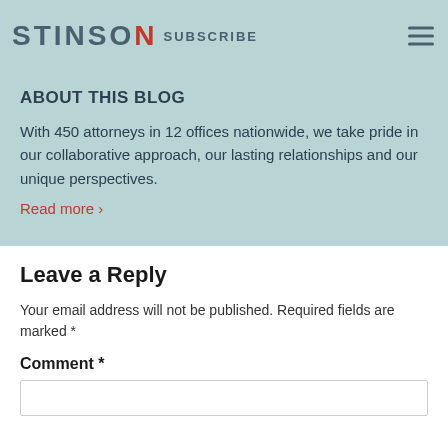STINSON | SUBSCRIBE
ABOUT THIS BLOG
With 450 attorneys in 12 offices nationwide, we take pride in our collaborative approach, our lasting relationships and our unique perspectives.
Read more ›
Leave a Reply
Your email address will not be published. Required fields are marked *
Comment *